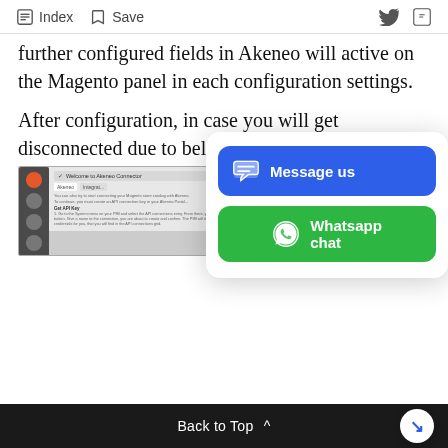Index  Save
further configured fields in Akeneo will active on the Magento panel in each configuration settings.
After configuration, in case you will get disconnected due to below pop up will dis
[Figure (screenshot): Screenshot of Magento Akeneo Connector configuration panel showing welcome screen and API key setup instructions]
[Figure (infographic): Chat popup with two buttons: 'Message us' (blue) and 'Whatsapp chat' (green)]
Back to Top ^